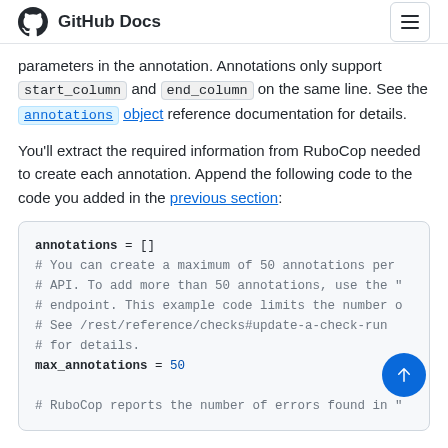GitHub Docs
parameters in the annotation. Annotations only support start_column and end_column on the same line. See the annotations object reference documentation for details.
You'll extract the required information from RuboCop needed to create each annotation. Append the following code to the code you added in the previous section:
[Figure (screenshot): Code block showing Ruby code: annotations = [] with comments about maximum 50 annotations per API, and max_annotations = 50, followed by a comment about RuboCop reporting errors]